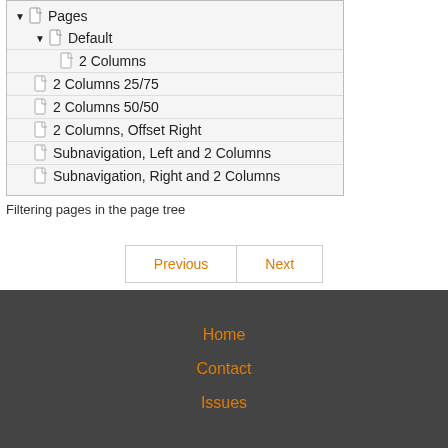[Figure (screenshot): A page tree UI showing nested pages: Pages > Default > 2 Columns, and siblings: 2 Columns 25/75, 2 Columns 50/50, 2 Columns Offset Right, Subnavigation Left and 2 Columns, Subnavigation Right and 2 Columns]
Filtering pages in the page tree
Previous  Next
Home
Contact
Issues